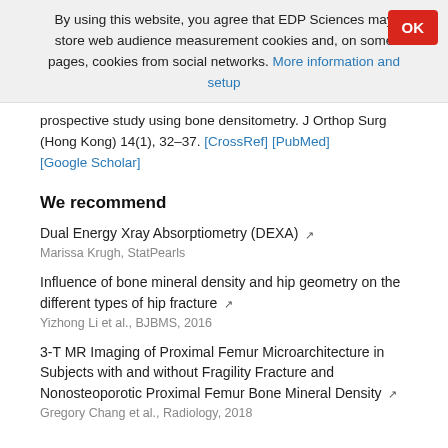By using this website, you agree that EDP Sciences may store web audience measurement cookies and, on some pages, cookies from social networks. More information and setup
prospective study using bone densitometry. J Orthop Surg (Hong Kong) 14(1), 32–37. [CrossRef] [PubMed] [Google Scholar]
We recommend
Dual Energy Xray Absorptiometry (DEXA)
Marissa Krugh, StatPearls
Influence of bone mineral density and hip geometry on the different types of hip fracture
Yizhong Li et al., BJBMS, 2016
3-T MR Imaging of Proximal Femur Microarchitecture in Subjects with and without Fragility Fracture and Nonosteoporotic Proximal Femur Bone Mineral Density
Gregory Chang et al., Radiology, 2018